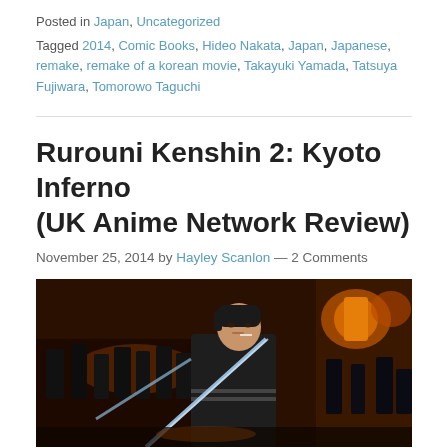Posted in Japan, Uncategorized
Tagged 2014, Comic Books, Hideo Nakata, Japan, Japanese, remake, remake of a korean movie, Takayuki Yamada, Tatsuya Fujiwara, Tomorowo Taguchi
Rurouni Kenshin 2: Kyoto Inferno (UK Anime Network Review)
November 25, 2014 by Hayley Scanlon — 2 Comments
[Figure (photo): A movie still from Rurouni Kenshin 2: Kyoto Inferno showing a man in dark clothing holding a sword, surrounded by other fighters in a nighttime action scene with lanterns glowing in the background.]